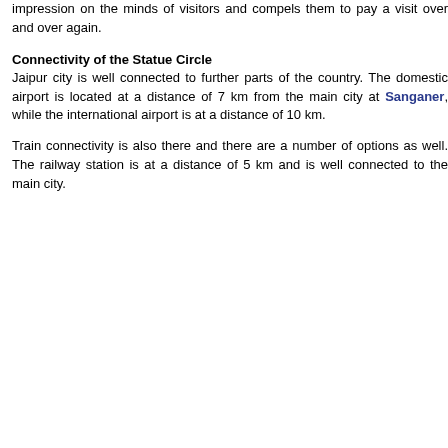impression on the minds of visitors and compels them to pay a visit over and over again.
Connectivity of the Statue Circle
Jaipur city is well connected to further parts of the country. The domestic airport is located at a distance of 7 km from the main city at Sanganer, while the international airport is at a distance of 10 km.
Train connectivity is also there and there are a number of options as well. The railway station is at a distance of 5 km and is well connected to the main city.